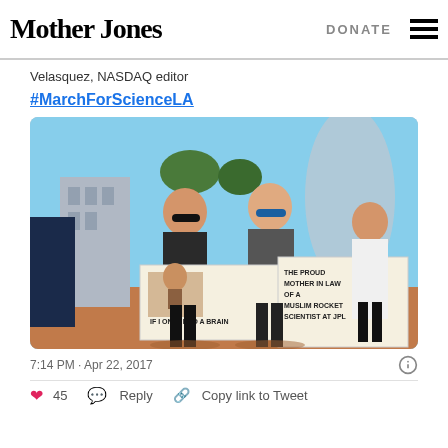Mother Jones | DONATE
Velasquez, NASDAQ editor
#MarchForScienceLA
[Figure (photo): Two women at a March for Science event in Los Angeles holding protest signs. One sign reads 'IF I ONLY HAD A BRAIN' with an image, and the other reads 'THE PROUD MOTHER IN LAW OF A MUSLIM ROCKET SCIENTIST AT JPL'. City buildings and trees visible in background.]
7:14 PM · Apr 22, 2017
❤ 45   Reply   Copy link to Tweet